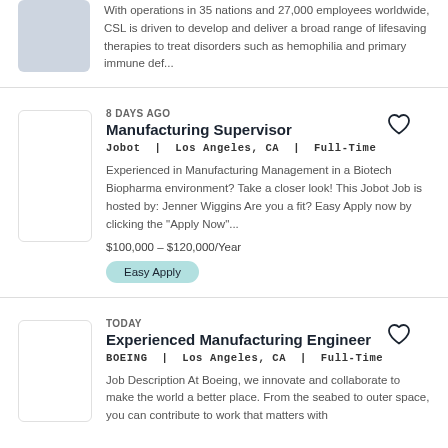With operations in 35 nations and 27,000 employees worldwide, CSL is driven to develop and deliver a broad range of lifesaving therapies to treat disorders such as hemophilia and primary immune def...
8 DAYS AGO
Manufacturing Supervisor
Jobot | Los Angeles, CA | Full-Time
Experienced in Manufacturing Management in a Biotech Biopharma environment? Take a closer look! This Jobot Job is hosted by: Jenner Wiggins Are you a fit? Easy Apply now by clicking the "Apply Now"...
$100,000 - $120,000/Year
Easy Apply
TODAY
Experienced Manufacturing Engineer
BOEING | Los Angeles, CA | Full-Time
Job Description At Boeing, we innovate and collaborate to make the world a better place. From the seabed to outer space, you can contribute to work that matters with